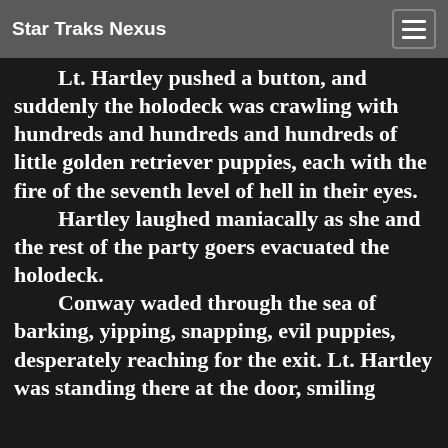Star Traks Nexus
Lt. Hartley pushed a button, and suddenly the holodeck was crawling with hundreds and hundreds and hundreds of little golden retriever puppies, each with the fire of the seventh level of hell in their eyes. Hartley laughed maniacally as she and the rest of the party goers evacuated the holodeck. Conway waded through the sea of barking, yipping, snapping, evil puppies, desperately reaching for the exit. Lt. Hartley was standing there at the door, smiling